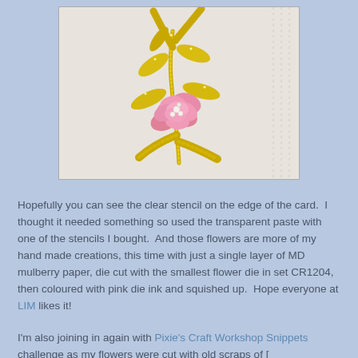[Figure (photo): A craft card showing golden glittery leaf/branch design with pink handmade mulberry paper flowers embellishments and small pearl beads, on a light cream/white card background. The card edge shows a clear stencil pattern.]
Hopefully you can see the clear stencil on the edge of the card.  I thought it needed something so used the transparent paste with one of the stencils I bought.  And those flowers are more of my hand made creations, this time with just a single layer of MD mulberry paper, die cut with the smallest flower die in set CR1204, then coloured with pink die ink and squished up.  Hope everyone at LIM likes it!
I'm also joining in again with Pixie's Craft Workshop Snippets challenge as my flowers were cut with old scraps of [